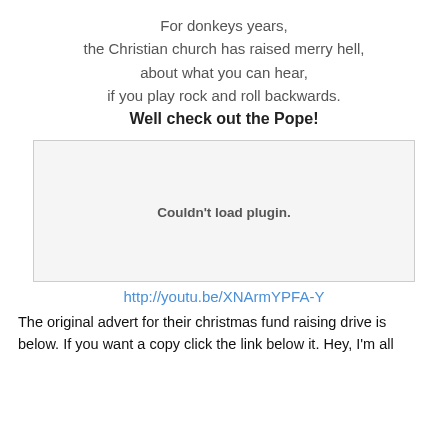For donkeys years,
the Christian church has raised merry hell,
about what you can hear,
if you play rock and roll backwards.
Well check out the Pope!
[Figure (other): Embedded plugin area showing 'Couldn't load plugin.' message]
http://youtu.be/XNArmYPFA-Y
The original advert for their christmas fund raising drive is below. If you want a copy click the link below it. Hey, I'm all